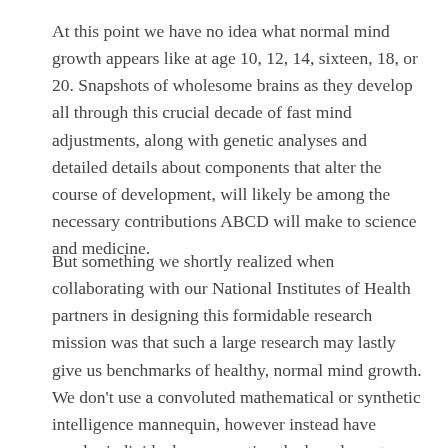At this point we have no idea what normal mind growth appears like at age 10, 12, 14, sixteen, 18, or 20. Snapshots of wholesome brains as they develop all through this crucial decade of fast mind adjustments, along with genetic analyses and detailed details about components that alter the course of development, will likely be among the necessary contributions ABCD will make to science and medicine.
But something we shortly realized when collaborating with our National Institutes of Health partners in designing this formidable research mission was that such a large research may lastly give us benchmarks of healthy, normal mind growth. We don't use a convoluted mathematical or synthetic intelligence mannequin, however instead have regular individuals representing the broad spectrum of People blindly charge the bias of articles.
[Figure (photo): A partial photo visible at the bottom of the page showing a warm golden/yellow toned image, likely a microscopy or scientific image related to brain/neural tissue.]